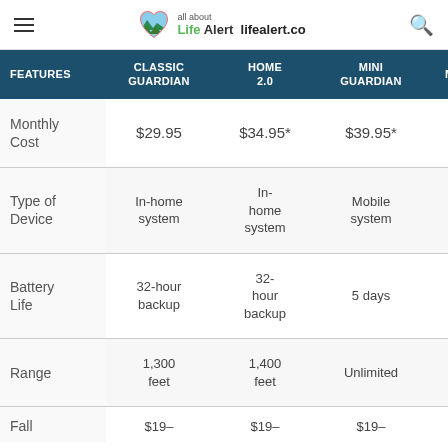Life Alert — all about lifealert.co
| FEATURES | CLASSIC GUARDIAN | HOME 2.0 | MINI GUARDIAN | MOBILE 2.0 |
| --- | --- | --- | --- | --- |
| Monthly Cost | $29.95 | $34.95* | $39.95* | $39.95* |
| Type of Device | In-home system | In-home system | Mobile system | Mobile system |
| Battery Life | 32-hour backup | 32-hour backup | 5 days | 5 days |
| Range | 1,300 feet | 1,400 feet | Unlimited | Unlimited |
| Fall | $19– | $19– | $19– | $19– |